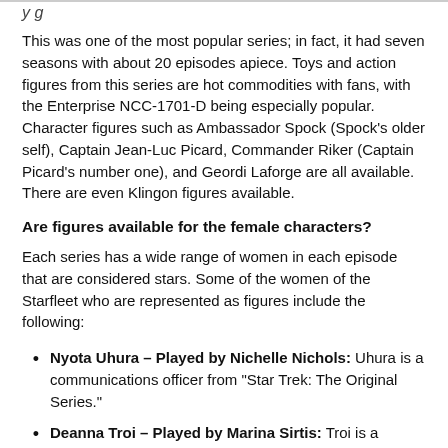y g
This was one of the most popular series; in fact, it had seven seasons with about 20 episodes apiece. Toys and action figures from this series are hot commodities with fans, with the Enterprise NCC-1701-D being especially popular. Character figures such as Ambassador Spock (Spock's older self), Captain Jean-Luc Picard, Commander Riker (Captain Picard's number one), and Geordi Laforge are all available. There are even Klingon figures available.
Are figures available for the female characters?
Each series has a wide range of women in each episode that are considered stars. Some of the women of the Starfleet who are represented as figures include the following:
Nyota Uhura – Played by Nichelle Nichols: Uhura is a communications officer from "Star Trek: The Original Series."
Deanna Troi – Played by Marina Sirtis: Troi is a counselor from "Star Trek: The Next Generation."
Jadzia Dax – Played by Terry Farrell: Dax is a science